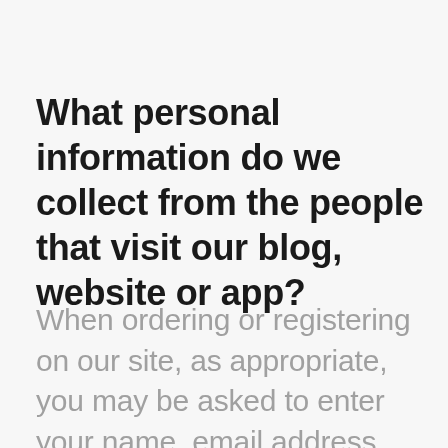What personal information do we collect from the people that visit our blog, website or app?
When ordering or registering on our site, as appropriate, you may be asked to enter your name, email address, mailing address, phone number, credit card